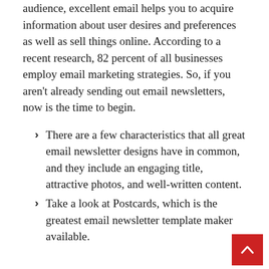audience, excellent email helps you to acquire information about user desires and preferences as well as sell things online. According to a recent research, 82 percent of all businesses employ email marketing strategies. So, if you aren't already sending out email newsletters, now is the time to begin.
There are a few characteristics that all great email newsletter designs have in common, and they include an engaging title, attractive photos, and well-written content.
Take a look at Postcards, which is the greatest email newsletter template maker available.